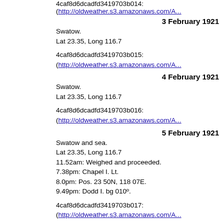4caf8d6dcadfd3419703b014: (http://oldweather.s3.amazonaws.com/A...
3 February 1921
Swatow.
Lat 23.35, Long 116.7
4caf8d6dcadfd3419703b015: (http://oldweather.s3.amazonaws.com/A...
4 February 1921
Swatow.
Lat 23.35, Long 116.7
4caf8d6dcadfd3419703b016: (http://oldweather.s3.amazonaws.com/A...
5 February 1921
Swatow and sea.
Lat 23.35, Long 116.7
11.52am: Weighed and proceeded.
7.38pm: Chapel I. Lt.
8.0pm: Pos. 23 50N, 118 07E.
9.49pm: Dodd I. bg 010º.
4caf8d6dcadfd3419703b017: (http://oldweather.s3.amazonaws.com/A...
6 February 1921
At sea.
Lat 26.21, Long 120.62
3.57am: Ocksen Lt bg 322º, 8 miles.
7.0am: Turnabout I. bg 309º, 6.5 miles.
8.0am: Pos. 25 33N, 120 08E.
12.25pm: Tung Yung Lt bg 302º.